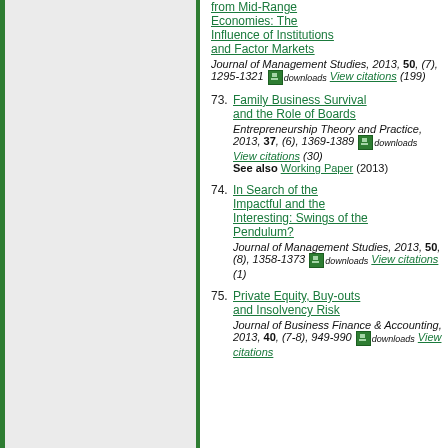from Mid-Range Economies: The Influence of Institutions and Factor Markets — Journal of Management Studies, 2013, 50, (7), 1295-1321 downloads View citations (199)
73. Family Business Survival and the Role of Boards — Entrepreneurship Theory and Practice, 2013, 37, (6), 1369-1389 downloads View citations (30) See also Working Paper (2013)
74. In Search of the Impactful and the Interesting: Swings of the Pendulum? — Journal of Management Studies, 2013, 50, (8), 1358-1373 downloads View citations (1)
75. Private Equity, Buy-outs and Insolvency Risk — Journal of Business Finance & Accounting, 2013, 40, (7-8), 949-990 downloads View citations (5)